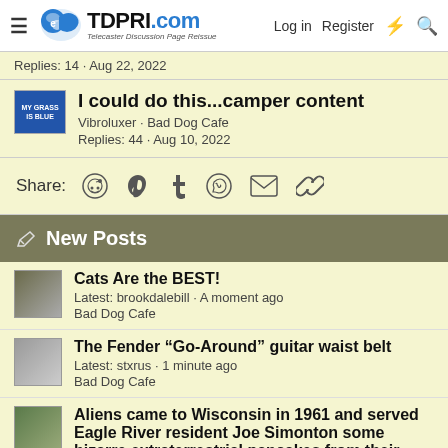TDPRI.com — Telecaster Discussion Page Reissue | Log in | Register
Replies: 14 · Aug 22, 2022
I could do this...camper content
Vibroluxer · Bad Dog Cafe
Replies: 44 · Aug 10, 2022
Share:
New Posts
Cats Are the BEST!
Latest: brookdalebill · A moment ago
Bad Dog Cafe
The Fender “Go-Around” guitar waist belt
Latest: stxrus · 1 minute ago
Bad Dog Cafe
Aliens came to Wisconsin in 1961 and served Eagle River resident Joe Simonton some bizarre extraterrestrial pancakes from their UFO.